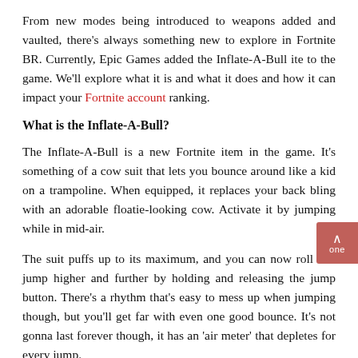From new modes being introduced to weapons added and vaulted, there's always something new to explore in Fortnite BR. Currently, Epic Games added the Inflate-A-Bullite to the game. We'll explore what it is and what it does and how it can impact your Fortnite account ranking.
What is the Inflate-A-Bull?
The Inflate-A-Bull is a new Fortnite item in the game. It's something of a cow suit that lets you bounce around like a kid on a trampoline. When equipped, it replaces your back bling with an adorable floatie-looking cow. Activate it by jumping while in mid-air.
The suit puffs up to its maximum, and you can now roll and jump higher and further by holding and releasing the jump button. There's a rhythm that's easy to mess up when jumping though, but you'll get far with even one good bounce. It's not gonna last forever though, it has an 'air meter' that depletes for every jump.
Getting hit will pop the suit, and it'll take longer to recharge than when deflating it yourself. It does protect